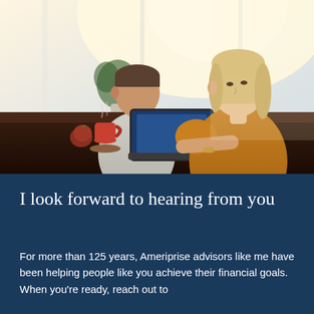[Figure (photo): A middle-aged couple sitting at a dark dining table, looking at a laptop together. The woman on the right has blonde hair and wears a yellow/mustard top. The man on the left wears a light grey shirt. There is a coffee cup and saucer on the table. Large bright windows are in the background with warm sunlight. A green plant is visible in the background.]
I look forward to hearing from you
For more than 125 years, Ameriprise advisors like me have been helping people like you achieve their financial goals. When you're ready, reach out to